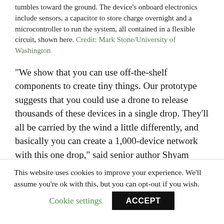tumbles toward the ground. The device's onboard electronics include sensors, a capacitor to store charge overnight and a microcontroller to run the system, all contained in a flexible circuit, shown here. Credit: Mark Stone/University of Washington
“We show that you can use off-the-shelf components to create tiny things. Our prototype suggests that you could use a drone to release thousands of these devices in a single drop. They’ll all be carried by the wind a little differently, and basically you can create a 1,000-device network with this one drop,” said senior author Shyam Gollakota, a UW professor in the Paul G. Allen School of Computer Science &
This website uses cookies to improve your experience. We’ll assume you’re ok with this, but you can opt-out if you wish.
Cookie settings
ACCEPT